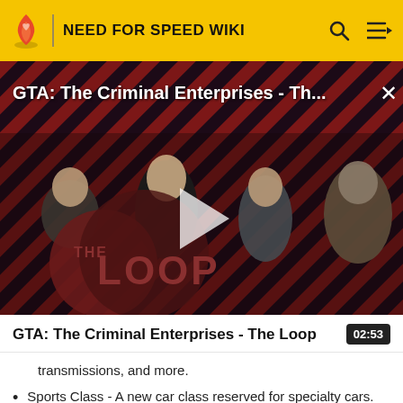NEED FOR SPEED WIKI
[Figure (screenshot): Video thumbnail for 'GTA: The Criminal Enterprises - The Loop' showing game characters on a red diagonal stripe background with a play button overlay and The Loop logo watermark.]
GTA: The Criminal Enterprises - The Loop
02:53
transmissions, and more.
Sports Class - A new car class reserved for specialty cars. This feature will allow cars like the 1966 Shelby Cobra to be released for the players to own.